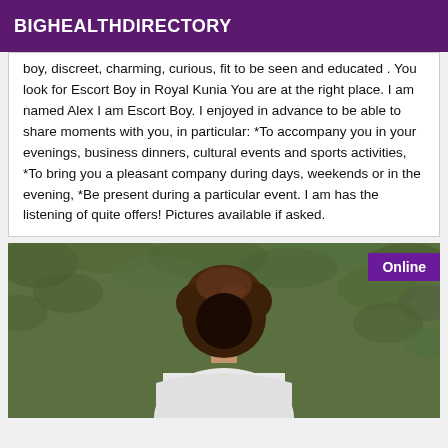BIGHEALTHDIRECTORY
boy, discreet, charming, curious, fit to be seen and educated . You look for Escort Boy in Royal Kunia You are at the right place. I am named Alex I am Escort Boy. I enjoyed in advance to be able to share moments with you, in particular: *To accompany you in your evenings, business dinners, cultural events and sports activities, *To bring you a pleasant company during days, weekends or in the evening, *Be present during a particular event. I am has the listening of quite offers! Pictures available if asked.
[Figure (photo): Person with brown curly hair seen from behind, wearing white top, standing in front of green foliage. Online badge in purple top-right corner.]